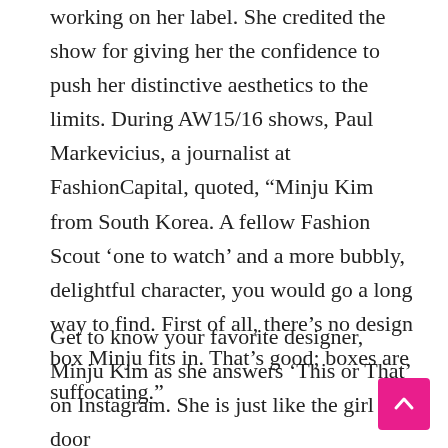working on her label. She credited the show for giving her the confidence to push her distinctive aesthetics to the limits. During AW15/16 shows, Paul Markevicius, a journalist at FashionCapital, quoted, “Minju Kim from South Korea. A fellow Fashion Scout ‘one to watch’ and a more bubbly, delightful character, you would go a long way to find. First of all, there’s no design box Minju fits in. That’s good; boxes are suffocating.”
Get to know your favorite designer, Minju Kim as she answers ‘This or That’ on Instagram. She is just like the girl next door